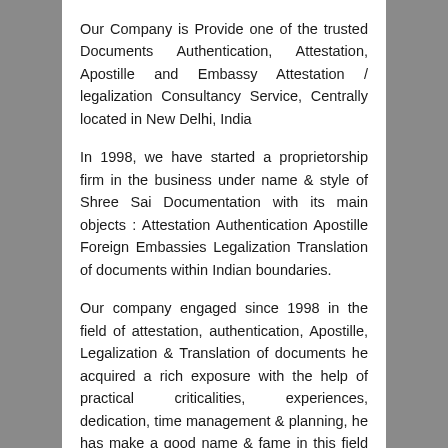Our Company is Provide one of the trusted Documents Authentication, Attestation, Apostille and Embassy Attestation / legalization Consultancy Service, Centrally located in New Delhi, India
In 1998, we have started a proprietorship firm in the business under name & style of Shree Sai Documentation with its main objects : Attestation Authentication Apostille Foreign Embassies Legalization Translation of documents within Indian boundaries.
Our company engaged since 1998 in the field of attestation, authentication, Apostille, Legalization & Translation of documents he acquired a rich exposure with the help of practical criticalities, experiences, dedication, time management & planning, he has make a good name & fame in this field and has gathered around 40,000 customer data base across India. A private